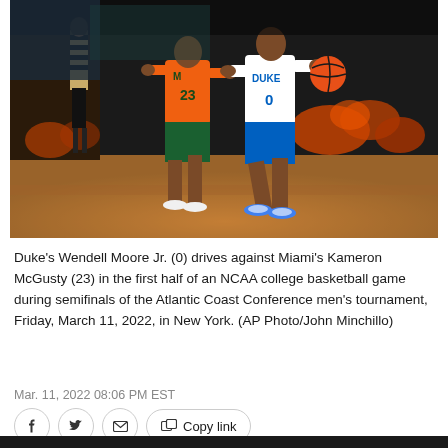[Figure (photo): Basketball action photo: Duke player #0 Wendell Moore Jr. in white Duke uniform dribbling/driving against Miami player #23 Kameron McGusty in orange uniform, with referee and cheerleaders in background on an indoor basketball court.]
Duke's Wendell Moore Jr. (0) drives against Miami's Kameron McGusty (23) in the first half of an NCAA college basketball game during semifinals of the Atlantic Coast Conference men's tournament, Friday, March 11, 2022, in New York. (AP Photo/John Minchillo)
Mar. 11, 2022 08:06 PM EST